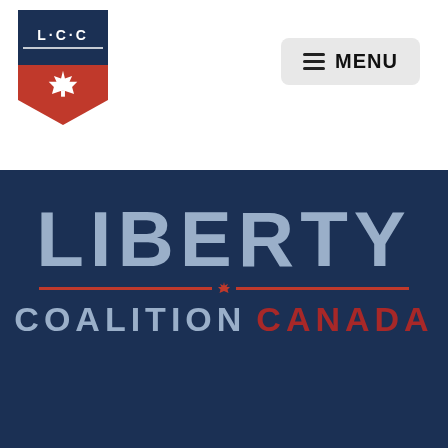[Figure (logo): LCC shield logo with maple leaf, dark blue top with L·C·C text and red pennant shape below with white maple leaf]
[Figure (other): Menu button with hamburger icon and MENU text on light grey rounded rectangle]
[Figure (logo): Liberty Coalition Canada main logo on dark navy background: LIBERTY in large grey letters, two red horizontal lines with small maple leaf dot between them, COALITION in grey and CANADA in red below]